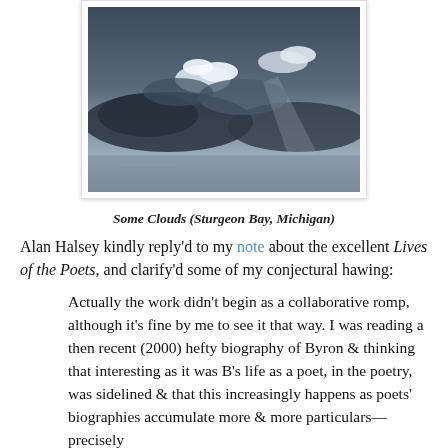[Figure (photo): Photograph of clouds over a calm body of water (Sturgeon Bay, Michigan), displayed in a white photo frame with slight shadow border.]
Some Clouds (Sturgeon Bay, Michigan)
Alan Halsey kindly reply'd to my note about the excellent Lives of the Poets, and clarify'd some of my conjectural hawing:
Actually the work didn't begin as a collaborative romp, although it's fine by me to see it that way. I was reading a then recent (2000) hefty biography of Byron & thinking that interesting as it was B's life as a poet, in the poetry, was sidelined & that this increasingly happens as poets' biographies accumulate more & more particulars—precisely